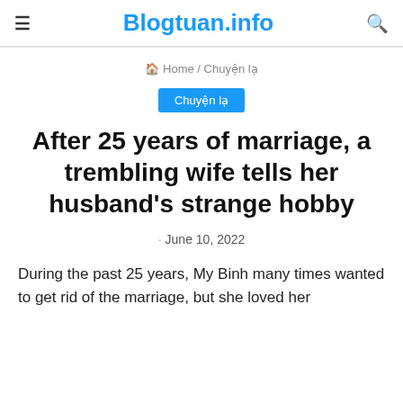≡  Blogtuan.info  🔍
🏠 Home / Chuyện lạ
Chuyện lạ
After 25 years of marriage, a trembling wife tells her husband's strange hobby
· June 10, 2022
During the past 25 years, My Binh many times wanted to get rid of the marriage, but she loved her